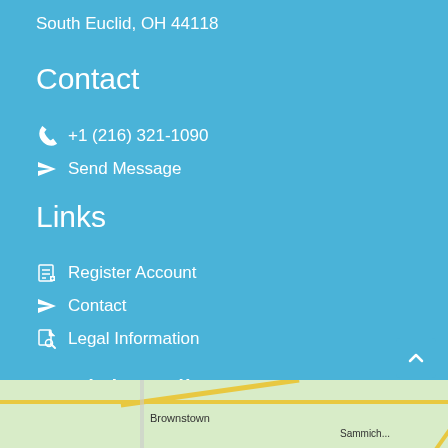South Euclid, OH 44118
Contact
+1 (216) 321-1090
Send Message
Links
Register Account
Contact
Legal Information
Social Media
[Figure (illustration): Facebook circle icon (dark navy blue) and Instagram circle icon (pink/magenta) side by side]
[Figure (map): Street map showing Brownstown area with yellow roads on light green background]